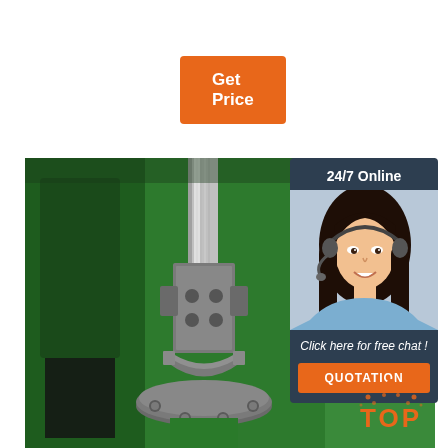Get Price
[Figure (photo): Close-up photo of an industrial green machine with a gray cast metal vertical shaft/screw mechanism and flanged base with bolts]
[Figure (photo): Customer service agent: woman with dark hair wearing a headset, smiling, in a light blue shirt. Dark navy panel with '24/7 Online' header, 'Click here for free chat!' text, and orange QUOTATION button]
24/7 Online
Click here for free chat !
QUOTATION
[Figure (logo): TOP logo in orange with decorative orange dots/sparks above the word TOP]